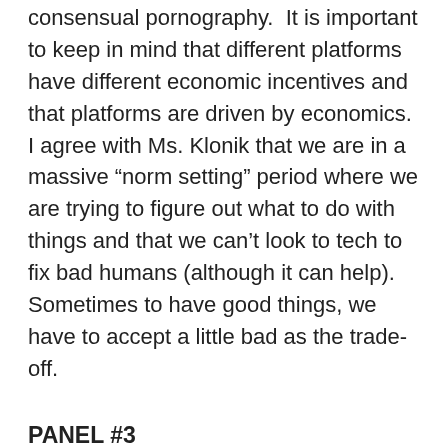consensual pornography.  It is important to keep in mind that different platforms have different economic incentives and that platforms are driven by economics.  I agree with Ms. Klonik that we are in a massive “norm setting” period where we are trying to figure out what to do with things and that we can’t look to tech to fix bad humans (although it can help).  Sometimes to have good things, we have to accept a little bad as the trade-off.
PANEL #3
This last panel was mostly a re-cap of the benefits of Section 230; the struggles that we fact when trying to regulate with a one-size fits all mentality and, I think most of the panelists seem to be agreeing that there needs to be some research done before we go making changes because we don’t want unintended consequences.  That is something I’ve been saying for a while and reiterated during the ABA’s Forum on